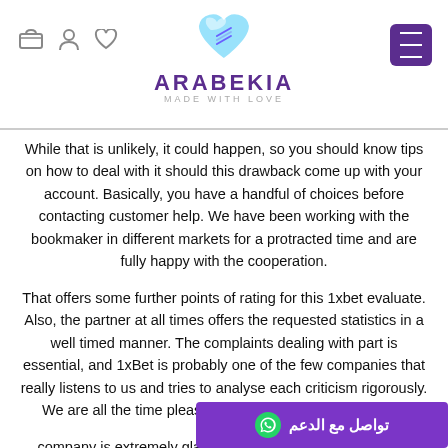ARABEKIA - MADE WITH LOVE
While that is unlikely, it could happen, so you should know tips on how to deal with it should this drawback come up with your account. Basically, you have a handful of choices before contacting customer help. We have been working with the bookmaker in different markets for a protracted time and are fully happy with the cooperation.
That offers some further points of rating for this 1xbet evaluate. Also, the partner at all times offers the requested statistics in a well timed manner. The complaints dealing with part is essential, and 1xBet is probably one of the few companies that really listens to us and tries to analyse each criticism rigorously. We are all the time pleased to start working in new areas company is extremely glad with our cooperation with 1xBet.